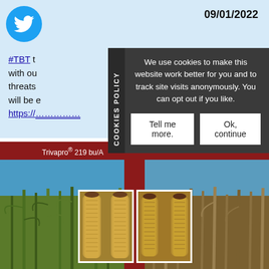09/01/2022
#TBT t... with ou... threats... will be e... https://...
COOKIES POLICY
We use cookies to make this website work better for you and to track site visits anonymously. You can opt out if you like.
Tell me more.
Ok, continue
Trivapro® 219 bu/A
Untreated 211 bu/A
[Figure (photo): Agricultural comparison photo showing corn field treated with Trivapro vs untreated, with inset images of corn cobs side by side on red background]